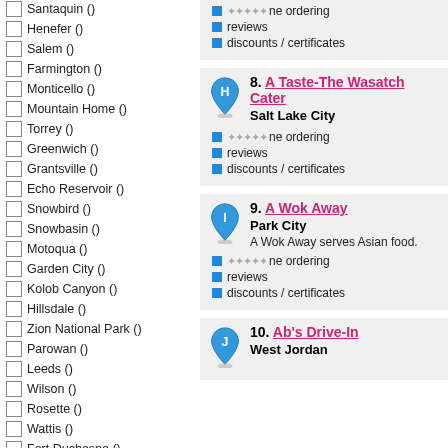Santaquin ()
Henefer ()
Salem ()
Farmington ()
Monticello ()
Mountain Home ()
Torrey ()
Greenwich ()
Grantsville ()
Echo Reservoir ()
Snowbird ()
Snowbasin ()
Motoqua ()
Garden City ()
Kolob Canyon ()
Hillsdale ()
Zion National Park ()
Parowan ()
Leeds ()
Wilson ()
Rosette ()
Wattis ()
Fort Duchesne ()
Black Rock ()
Santa Clara ()
Saratoga Springs ()
Coalville ()
Mantua Reservoir () [checked]
South Ogden ()
Cedarview () [checked]
Manti ()
Hovenweep National Monument ()
8. A Taste-The Wasatch Cater
Salt Lake City
online ordering
reviews
discounts / certificates
9. A Wok Away
Park City
A Wok Away serves Asian food.
online ordering
reviews
discounts / certificates
10. Ab's Drive-In
West Jordan